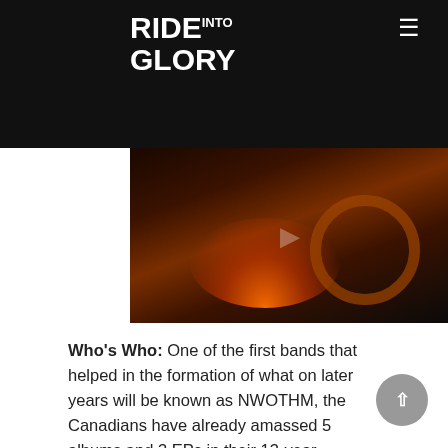Ride Into Glory
[Figure (screenshot): Video thumbnail showing a dark scene with orange fire/flame glow and a wheel shape, dark background with reddish-orange lighting]
Who's Who: One of the first bands that helped in the formation of what on later years will be known as NWOTHM, the Canadians have already amassed 5 albums and 3 EPs in their 13-year lifespan. Their characteristic style has a resemblance of co-frontrunners of the scene, Enforcer and Skull Fist, who in turn have their roots to the classic NWOBHM bands.
Suggested Discography: All the bands releases are quality, my personal favorites are the the first two albums, Chained to the Nite and Burning Fortune